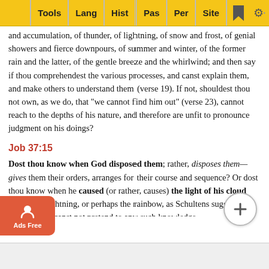Tools | Lang | Hist | Pas | Per | Site
and accumulation, of thunder, of lightning, of snow and frost, of genial showers and fierce downpours, of summer and winter, of the former rain and the latter, of the gentle breeze and the whirlwind; and then say if thou comprehendest the various processes, and canst explain them, and make others to understand them (verse 19). If not, shouldest thou not own, as we do, that "we cannot find him out" (verse 23), cannot reach to the depths of his nature, and therefore are unfit to pronounce judgment on his doings?
Job 37:15
Dost thou know when God disposed them; rather, disposes them—gives them their orders, arranges for their course and sequence? Or dost thou know when he caused (or rather, causes) the light of his cloud (either the lightning, or perhaps the rainbow, as Schultens suggests) to shine? Thou canst not pretend to any such knowledge.
Job 37: